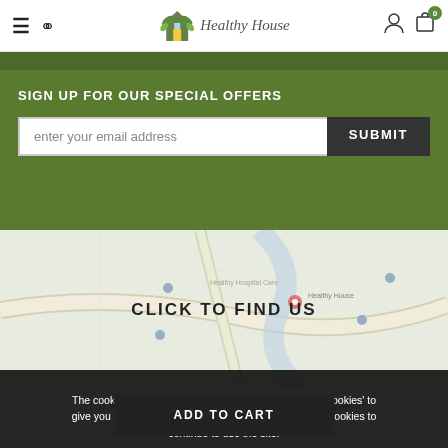Healthy House — navigation bar with hamburger menu, search, logo, user icon, cart (0)
SIGN UP FOR OUR SPECIAL OFFERS
enter your email address
SUBMIT
[Figure (map): Google Maps view with location pin for Healthy House]
CLICK TO FIND US
The cookie settings on this website are set to 'allow all cookies' to give you the very best experience. Please click Accept Cookies to continue to use the site.
PRIVACY POLICY | ACCEPT ✓
© 2019 Healthy House All Rights Reserved Ecommerce Software
ADD TO CART